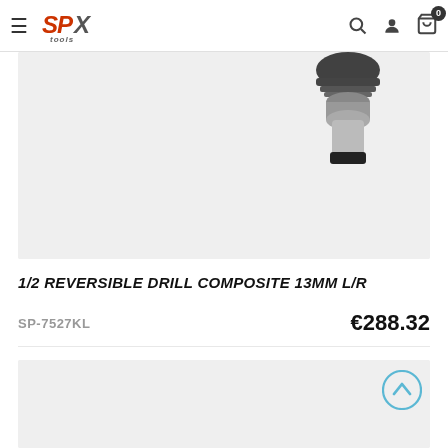SP Tools – navigation header with logo, search, user, and cart icons
[Figure (photo): Product photo of 1/2 reversible drill composite 13mm L/R, showing the drill chuck/tip area on a light grey background. Only the top portion of the drill is visible.]
1/2 REVERSIBLE DRILL COMPOSITE 13MM L/R
SP-7527KL   €288.32
[Figure (photo): Bottom product image area showing grey background, partially visible.]